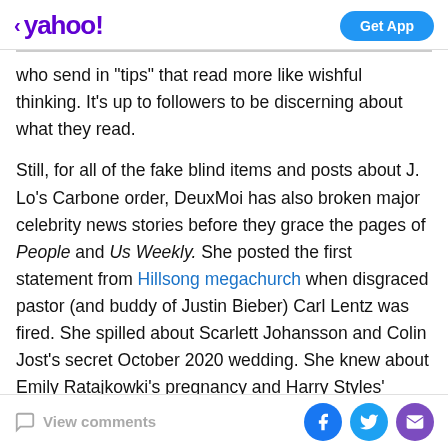yahoo! | Get App
who send in "tips" that read more like wishful thinking. It's up to followers to be discerning about what they read.
Still, for all of the fake blind items and posts about J. Lo's Carbone order, DeuxMoi has also broken major celebrity news stories before they grace the pages of People and Us Weekly. She posted the first statement from Hillsong megachurch when disgraced pastor (and buddy of Justin Bieber) Carl Lentz was fired. She spilled about Scarlett Johansson and Colin Jost's secret October 2020 wedding. She knew about Emily Ratajkowki's pregnancy and Harry Styles' Coachella gig weeks before news of either was made public.
View comments | Facebook | Twitter | Email